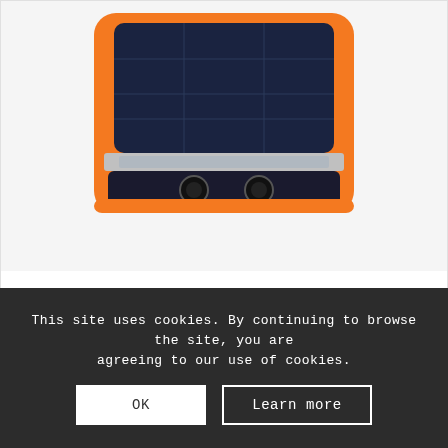[Figure (photo): Top-down view of a solar panel front light with orange housing, showing dark solar panels on top and speaker grille at the bottom, with metallic accents.]
Rydon Front light – Color housing ORANGE
€55.00
This site uses cookies. By continuing to browse the site, you are agreeing to our use of cookies.
OK
Learn more